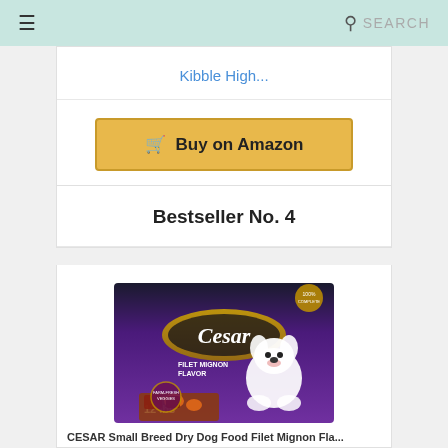SEARCH
Kibble High...
Buy on Amazon
Bestseller No. 4
[Figure (photo): Cesar Small Breed Dry Dog Food, Filet Mignon Flavor, 12lbs bag with image of a white West Highland Terrier dog]
CESAR Small Breed Dry Dog Food Filet Mignon Fla...